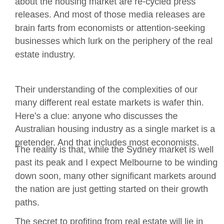about the housing market are re-cycled press releases. And most of those media releases are brain farts from economists or attention-seeking businesses which lurk on the periphery of the real estate industry.
Their understanding of the complexities of our many different real estate markets is wafer thin. Here's a clue: anyone who discusses the Australian housing industry as a single market is a pretender. And that includes most economists.
The reality is that, while the Sydney market is well past its peak and I expect Melbourne to be winding down soon, many other significant markets around the nation are just getting started on their growth paths.
The secret to profiting from real estate will lie in